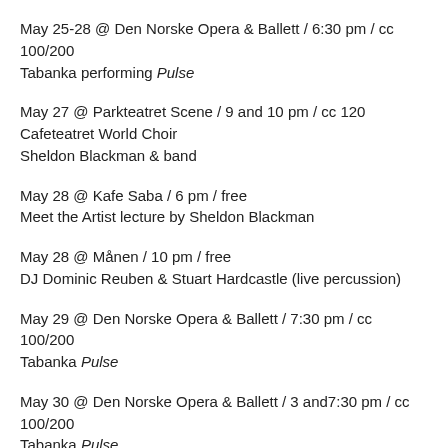May 25-28 @ Den Norske Opera & Ballett / 6:30 pm / cc 100/200
Tabanka performing Pulse
May 27 @ Parkteatret Scene / 9 and 10 pm / cc 120
Cafeteatret World Choir
Sheldon Blackman & band
May 28 @ Kafe Saba / 6 pm / free
Meet the Artist lecture by Sheldon Blackman
May 28 @ Månen / 10 pm / free
DJ Dominic Reuben & Stuart Hardcastle (live percussion)
May 29 @ Den Norske Opera & Ballett / 7:30 pm / cc 100/200
Tabanka Pulse
May 30 @ Den Norske Opera & Ballett / 3 and7:30 pm / cc 100/200
Tabanka Pulse